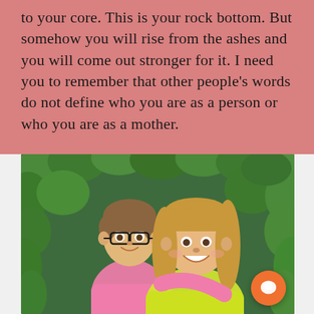to your core. This is your rock bottom. But somehow you will rise from the ashes and you will come out stronger for it. I need you to remember that other people's words do not define who you are as a person or who you are as a mother.
[Figure (photo): Photo of a boy wearing glasses and a pink shirt hugging a smiling girl with long hair wearing a yellow shirt, with green foliage in the background. There is a scroll-up button (white circle with chevron) and an orange chat button in the lower right corner of the image.]